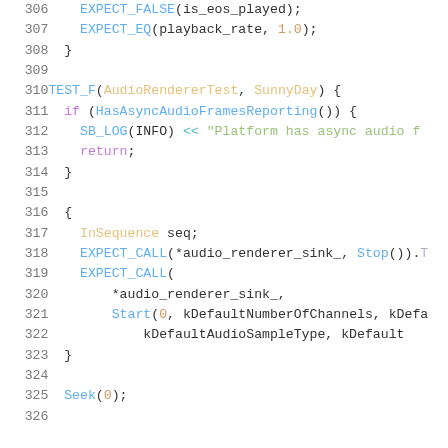[Figure (screenshot): Source code listing showing C++ test code with line numbers 306-326. Lines include EXPECT_FALSE, EXPECT_EQ, TEST_F(AudioRendererTest, SunnyDay), if (HasAsyncAudioFramesReporting()), SB_LOG, return, EXPECT_CALL with audio_renderer_sink_, InSequence seq, Start, kDefaultNumberOfChannels, kDefaultAudioSampleType, kDefault, Seek(0).]